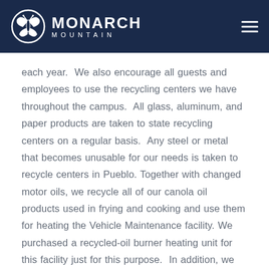MONARCH MOUNTAIN
each year.  We also encourage all guests and employees to use the recycling centers we have throughout the campus.  All glass, aluminum, and paper products are taken to state recycling centers on a regular basis.  Any steel or metal that becomes unusable for our needs is taken to recycle centers in Pueblo. Together with changed motor oils, we recycle all of our canola oil products used in frying and cooking and use them for heating the Vehicle Maintenance facility. We purchased a recycled-oil burner heating unit for this facility just for this purpose.  In addition, we keep our grooming and tour cats all from the same manufacturer so that we can reuse and interchange parts before needing to purchase